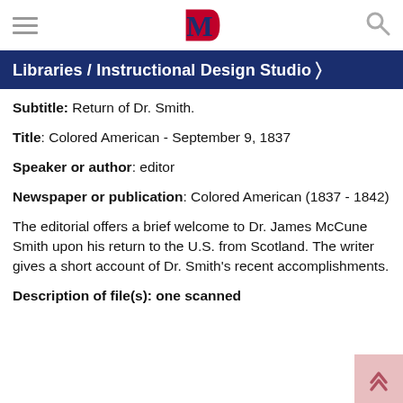Libraries / Instructional Design Studio
Subtitle: Return of Dr. Smith.
Title: Colored American - September 9, 1837
Speaker or author: editor
Newspaper or publication: Colored American (1837 - 1842)
The editorial offers a brief welcome to Dr. James McCune Smith upon his return to the U.S. from Scotland. The writer gives a short account of Dr. Smith's recent accomplishments.
Description of file(s): one scanned